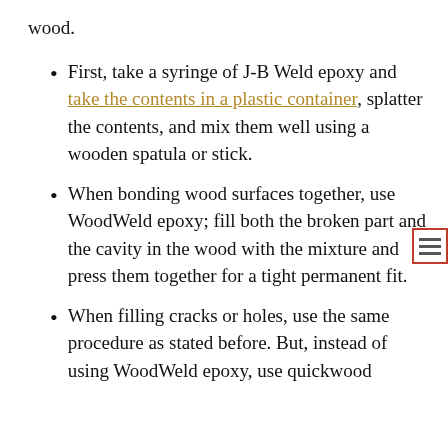wood.
First, take a syringe of J-B Weld epoxy and take the contents in a plastic container, splatter the contents, and mix them well using a wooden spatula or stick.
When bonding wood surfaces together, use WoodWeld epoxy; fill both the broken part and the cavity in the wood with the mixture and press them together for a tight permanent fit.
When filling cracks or holes, use the same procedure as stated before. But, instead of using WoodWeld epoxy, use quickwood